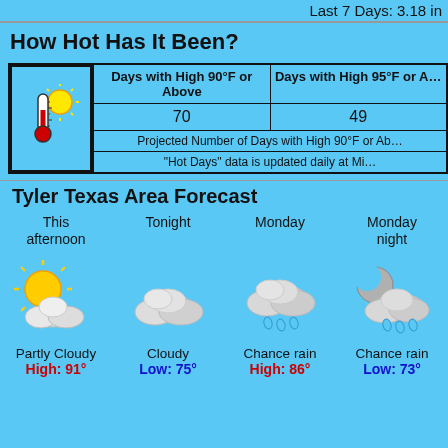Last 7 Days: 3.18 in
How Hot Has It Been?
|  | Days with High 90°F or Above | Days with High 95°F or Above |
| --- | --- | --- |
| [thermometer/sun icon] | 70 | 49 |
|  | Projected Number of Days with High 90°F or Ab... |  |
|  | "Hot Days" data is updated daily at Mi... |  |
Tyler Texas Area Forecast
[Figure (infographic): Weather forecast icons for Tyler Texas Area: This afternoon - Partly Cloudy High 91°, Tonight - Cloudy Low 75°, Monday - Chance rain High 86°, Monday night - Chance rain Low 73°]
This afternoon
Partly Cloudy
High: 91°
Tonight
Cloudy
Low: 75°
Monday
Chance rain
High: 86°
Monday night
Chance rain
Low: 73°